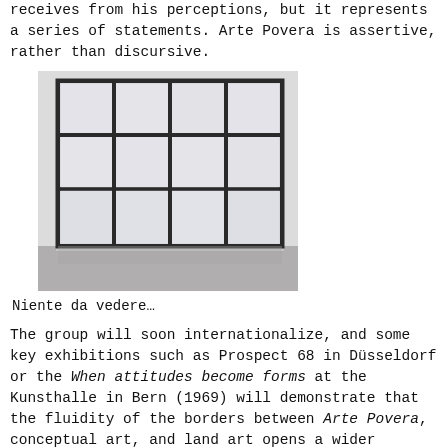receives from his perceptions, but it represents a series of statements. Arte Povera is assertive, rather than discursive.
[Figure (photo): Photograph of a large grid-like metal frame sculpture leaning against a white wall, composed of 12 rectangular panes arranged in a 4x3 grid, with a reflective floor. The work is Niente da vedere, niente da nascondere by Alighiero e Boetti.]
Niente da vedere…
The group will soon internationalize, and some key exhibitions such as Prospect 68 in Düsseldorf or the When attitudes become forms at the Kunsthalle in Bern (1969) will demonstrate that the fluidity of the borders between Arte Povera, conceptual art, and land art opens a wider panorama and reveals many transversal connecting lines. Alighiero e Boetti's Niente da vedere, niente da nascondere (1969) or Kounellis's blocked doors have clear conceptual overtones, for instance.